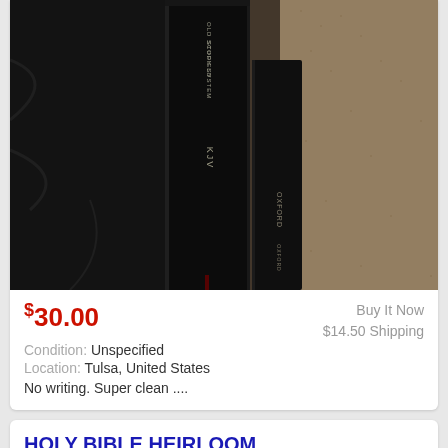[Figure (photo): Photo of dark leather Bible spines showing 'OLD SCOFIELD STUDY SYSTEM', 'KJV', and 'OXFORD' text on black book spines, resting on a beige carpet with dark fabric draped nearby.]
$30.00  Buy It Now  $14.50 Shipping  Condition: Unspecified  Location: Tulsa, United States  No writing. Super clean ....
HOLY BIBLE HEIRLOOM MASTER REFERENCE EDITION KING JAMES VERSION RED LETTER